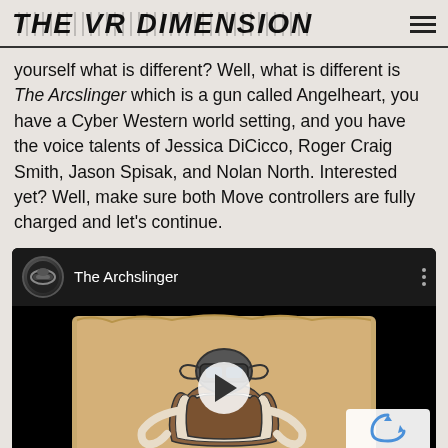THE VR DIMENSION
yourself what is different? Well, what is different is The Arcslinger which is a gun called Angelheart, you have a Cyber Western world setting, and you have the voice talents of Jessica DiCicco, Roger Craig Smith, Jason Spisak, and Nolan North. Interested yet? Well, make sure both Move controllers are fully charged and let's continue.
[Figure (screenshot): YouTube video embed showing 'The Archslinger' with PSVR headset icon, play button overlay on western-themed animated thumbnail, and reCAPTCHA overlay in bottom right corner.]